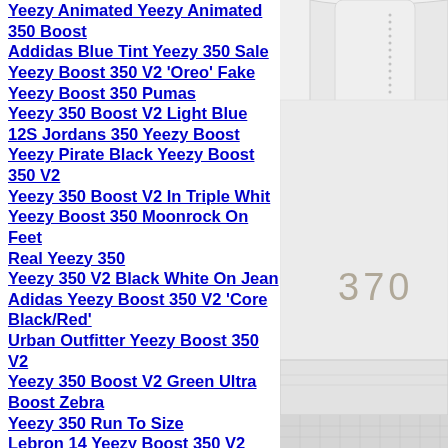Yeezy Animated Yeezy Animated 350 Boost
Addidas Blue Tint Yeezy 350 Sale
Yeezy Boost 350 V2 'Oreo' Fake
Yeezy Boost 350 Pumas
Yeezy 350 Boost V2 Light Blue
12S Jordans 350 Yeezy Boost
Yeezy Pirate Black Yeezy Boost 350 V2
Yeezy 350 Boost V2 In Triple Whit
Yeezy Boost 350 Moonrock On Feet
Real Yeezy 350
Yeezy 350 V2 Black White On Jean
Adidas Yeezy Boost 350 V2 'Core Black/Red'
Urban Outfitter Yeezy Boost 350 V2
Yeezy 350 Boost V2 Green Ultra Boost Zebra
Yeezy 350 Run To Size
Lebron 14 Yeezy Boost 350 V2
Kanye West Wearing Yeezy 350
Yeezy Boost 350 V2 Citron Resell
Yeezy Boost 350 V2 Nba Schedule
How To Wash Yeezys 350
How To Buy Yeezys 350 V2 New
[Figure (photo): Close-up photo of a white sneaker heel with '370' text visible on the side, white leather upper and textured sole.]